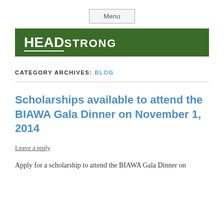Menu
[Figure (logo): HEADSTRONG logo on dark green banner background]
CATEGORY ARCHIVES: BLOG
Scholarships available to attend the BIAWA Gala Dinner on November 1, 2014
Leave a reply
Apply for a scholarship to attend the BIAWA Gala Dinner on